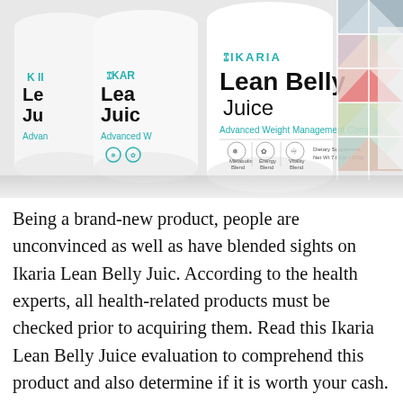[Figure (photo): Multiple white cylindrical supplement containers labeled 'IKARIA Lean Belly Juice Advanced Weight Management Complex' arranged in a row with triangular fruit/ingredient collage on the right side. The front container clearly shows the full branding including 'Metabolic Blend', 'Energy Blend', 'Vitality Blend', and 'Dietary Supplement Net Wt 7.61oz / 216g'.]
Being a brand-new product, people are unconvinced as well as have blended sights on Ikaria Lean Belly Juic. According to the health experts, all health-related products must be checked prior to acquiring them. Read this Ikaria Lean Belly Juice evaluation to comprehend this product and also determine if it is worth your cash.